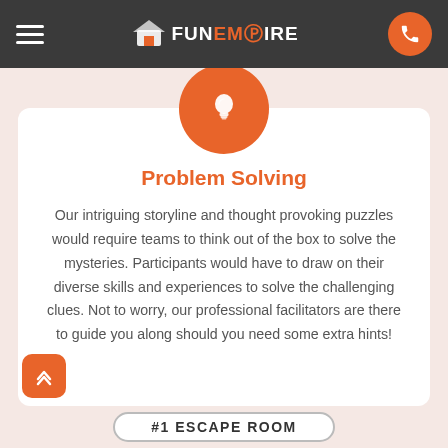FunEmpire
[Figure (illustration): Orange circle with white lightbulb icon]
Problem Solving
Our intriguing storyline and thought provoking puzzles would require teams to think out of the box to solve the mysteries. Participants would have to draw on their diverse skills and experiences to solve the challenging clues. Not to worry, our professional facilitators are there to guide you along should you need some extra hints!
#1 ESCAPE ROOM